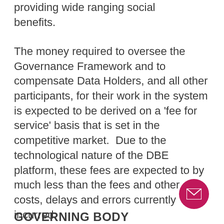providing wide ranging social benefits.
The money required to oversee the Governance Framework and to compensate Data Holders, and all other participants, for their work in the system is expected to be derived on a 'fee for service' basis that is set in the competitive market.  Due to the technological nature of the DBE platform, these fees are expected to by much less than the fees and other costs, delays and errors currently incurred.
GOVERNING BODY